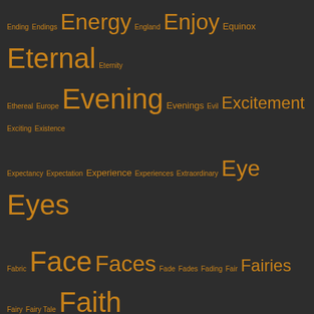[Figure (infographic): Word cloud on dark background with words starting with 'E' and 'F' in varying sizes, rendered in golden/amber color. Words include Ending, Endings, Energy, England, Enjoy, Equinox, Eternal, Eternity, Ethereal, Europe, Evening, Evenings, Evil, Excitement, Exciting, Existence, Expectancy, Expectation, Experience, Experiences, Extraordinary, Eye, Eyes, Fabric, Face, Faces, Fade, Fades, Fading, Fair, Fairies, Fairy, Fairy Tale, Faith, Faithful, Faithfulness, Fall, Falling, Families, Family, Farmer, Farmers, Father, Fear, Feast, Feasts, Feather, Feathers, Feathery, February, Feeders, Feel, Feeling, Feelings, Feet, Feline, Fence, Fences, Fertile, Fertility, Feverish, Field, Fields, Fierce, Fiesta, Filaments, Find, Fingers, Fire, Fireflies, Firefly, Fires, Firmament, Fish, Flame, Flames, Flash, Flesh, Float, Flock, Flocks, Flow, Flower, Flowerbeds, Flowering, Flowers, Flowery, Flutter, Fly, Fog, Foggy, Foliage, Food, Footsteps, Force, Forest, Forests, Forgive, Forgiven, Forgiveness, Fountain, Fountains, Foxglove, Fragile, Fragrance, Fragrances, Fragrant, Free, Freedom, Freeze, Freezing, French, Fresh, Freshness, Friend, Friends]